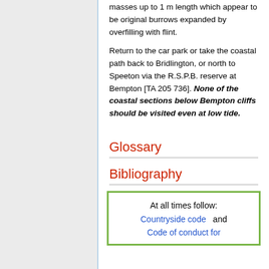masses up to 1 m length which appear to be original burrows expanded by overfilling with flint.
Return to the car park or take the coastal path back to Bridlington, or north to Speeton via the R.S.P.B. reserve at Bempton [TA 205 736]. None of the coastal sections below Bempton cliffs should be visited even at low tide.
Glossary
Bibliography
At all times follow: Countryside code  and  Code of conduct for